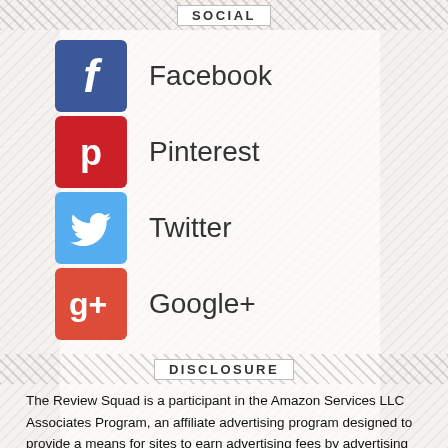SOCIAL
Facebook
Pinterest
Twitter
Google+
DISCLOSURE
The Review Squad is a participant in the Amazon Services LLC Associates Program, an affiliate advertising program designed to provide a means for sites to earn advertising fees by advertising and linking to amazon.com.
This in no way influences the product reviews and comparison charts created by us. We are dedicated to creating the best